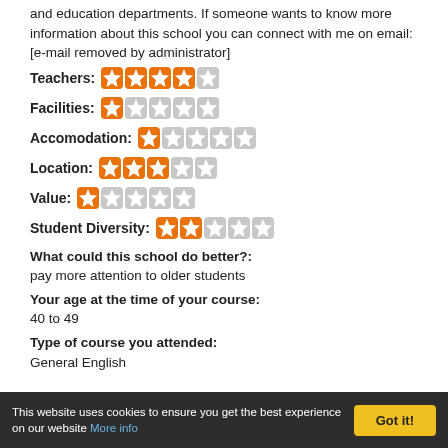and education departments. If someone wants to know more information about this school you can connect with me on email: [e-mail removed by administrator]
Teachers: 4/5 stars
Facilities: 1/5 stars
Accomodation: 1/5 stars
Location: 3/5 stars
Value: 1/5 stars
Student Diversity: 2/5 stars
What could this school do better?: pay more attention to older students
Your age at the time of your course: 40 to 49
Type of course you attended: General English
This website uses cookies to ensure you get the best experience on our website More info